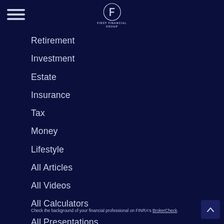[Figure (logo): First Financial Group logo — circular emblem with stylized F and company name below]
Retirement
Investment
Estate
Insurance
Tax
Money
Lifestyle
All Articles
All Videos
All Calculators
All Presentations
Check the background of your financial professional on FINRA's BrokerCheck.